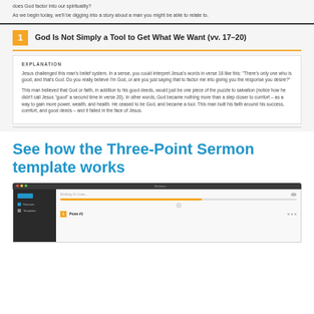does God factor into our spirituality?
As we begin today, we'll be digging into a story about a man you might be able to relate to.
1  God Is Not Simply a Tool to Get What We Want (vv. 17–20)
EXPLANATION
Jesus challenged this man's belief system. In a sense, you could interpret Jesus's words in verse 18 like this: "There's only one who is good, and that's God. Do you really believe I'm God, or are you just saying that to factor me into giving you the response you desire?"
This man believed that God or faith, in addition to his good deeds, would just be one piece of the puzzle to salvation (notice how he didn't call Jesus "good" a second time in verse 20). In other words, God became nothing more than a step closer to comfort – as a way to gain more power, wealth, and health. He ceased to be God, and became a tool. This man built his faith around his success, comfort, and good deeds – and it failed in the face of Jesus.
See how the Three-Point Sermon template works
[Figure (screenshot): Screenshot of a sermon editor application showing a sidebar with navigation items (Sermons, Templates) and a main content area with a progress bar and a numbered point header labeled 'Point #1']